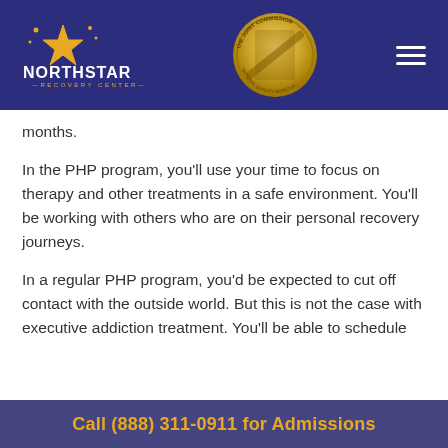[Figure (logo): NorthStar Recovery Center logo with star graphic in gold/yellow on dark blue background, and The Joint Commission National Quality Approval gold seal badge]
months.
In the PHP program, you'll use your time to focus on therapy and other treatments in a safe environment. You'll be working with others who are on their personal recovery journeys.
In a regular PHP program, you'd be expected to cut off contact with the outside world. But this is not the case with executive addiction treatment. You'll be able to schedule your work and other commitments.
Call (888) 311-0911 for Admissions